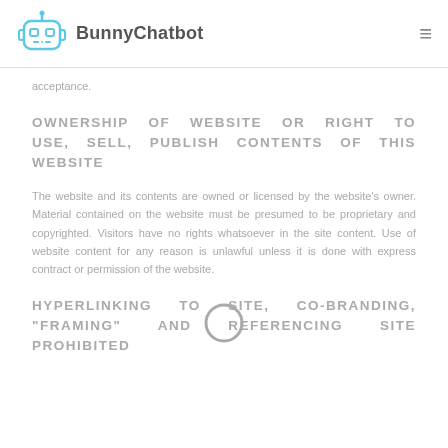BunnyChatbot
acceptance.
OWNERSHIP OF WEBSITE OR RIGHT TO USE, SELL, PUBLISH CONTENTS OF THIS WEBSITE
The website and its contents are owned or licensed by the website's owner. Material contained on the website must be presumed to be proprietary and copyrighted. Visitors have no rights whatsoever in the site content. Use of website content for any reason is unlawful unless it is done with express contract or permission of the website.
HYPERLINKING TO SITE, CO-BRANDING, "FRAMING" AND REFERENCING SITE PROHIBITED